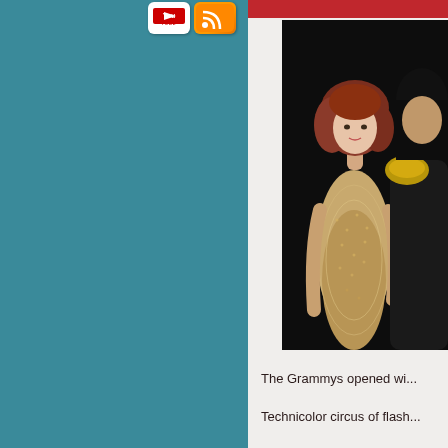[Figure (screenshot): YouTube button icon - white rounded rectangle with YouTube logo text]
[Figure (screenshot): RSS feed button icon - orange rounded rectangle with white RSS signal symbol]
[Figure (photo): Two women at the Grammys; one with curly red hair wearing a gold/beige lace dress, another partially visible wearing black with gold shoulder detail, against dark background]
The Grammys opened wi... Technicolor circus of flash... things that are tricked out...